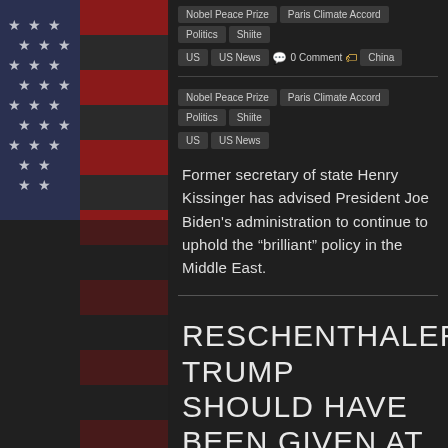Nobel Peace Prize | Paris Climate Accord | Politics | Shiite | US | US News | 0 Comment | China
Nobel Peace Prize | Paris Climate Accord | Politics | Shiite | US | US News
Former secretary of state Henry Kissinger has advised President Joe Biden's administration to continue to uphold the “brilliant” policy in the Middle East.
RESCHENTHALER: TRUMP SHOULD HAVE BEEN GIVEN AT LEAST ONE NOBEL PRIZE
February 5, 2021  admin  congress